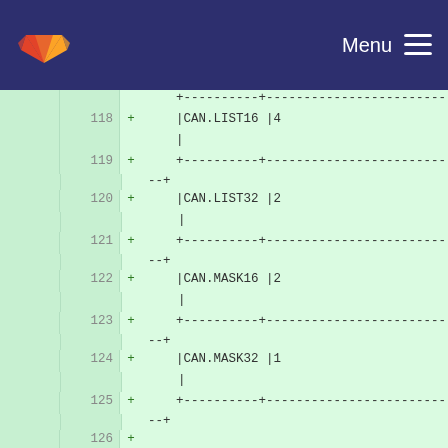GitLab — Menu
[Figure (screenshot): Code diff view showing lines 118-129 of a file. Lines 118-126 are new additions (green background) showing a table-formatted list of CAN filter types (CAN.LIST16, CAN.LIST32, CAN.MASK16, CAN.MASK32) with counts. Lines 127-129 show unchanged context with a method documentation comment: '.. method:: can.clearfilter(bank)' followed by 'Clean and disables a filter bank'.]